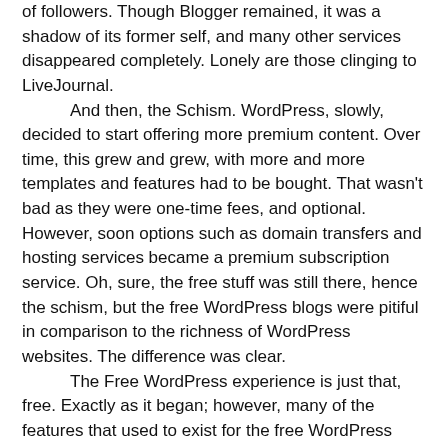of followers. Though Blogger remained, it was a shadow of its former self, and many other services disappeared completely. Lonely are those clinging to LiveJournal.
And then, the Schism. WordPress, slowly, decided to start offering more premium content. Over time, this grew and grew, with more and more templates and features had to be bought. That wasn’t bad as they were one-time fees, and optional. However, soon options such as domain transfers and hosting services became a premium subscription service. Oh, sure, the free stuff was still there, hence the schism, but the free WordPress blogs were pitiful in comparison to the richness of WordPress websites. The difference was clear.
The Free WordPress experience is just that, free. Exactly as it began; however, many of the features that used to exist for the free WordPress user are locked away, and must be paid for. So, to the perks and drawbacks of Free WordPress (paid WordPress will get its own).
Perks
Free. Of course, otherwise, it wouldn’t be worth it.